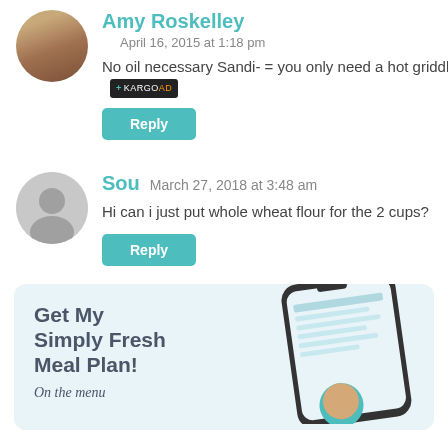Amy Roskelley
April 16, 2015 at 1:18 pm
No oil necessary Sandi- = you only need a hot griddle.
Reply
Sou   March 27, 2018 at 3:48 am
Hi can i just put whole wheat flour for the 2 cups?
Reply
[Figure (infographic): Get My Simply Fresh Meal Plan! On the menu - promotional banner with phone mockup showing a meal planner app]